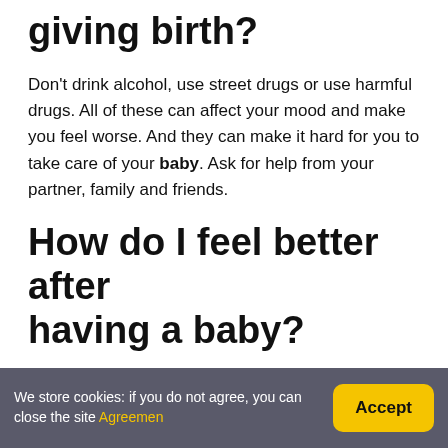giving birth?
Don't drink alcohol, use street drugs or use harmful drugs. All of these can affect your mood and make you feel worse. And they can make it hard for you to take care of your baby. Ask for help from your partner, family and friends.
How do I feel better after having a baby?
7 Ways to Instantly Feel Better in Your Post-Baby Body
1. Wrap yourself up.
2. Bronze yourself.
We store cookies: if you do not agree, you can close the site Agreemen